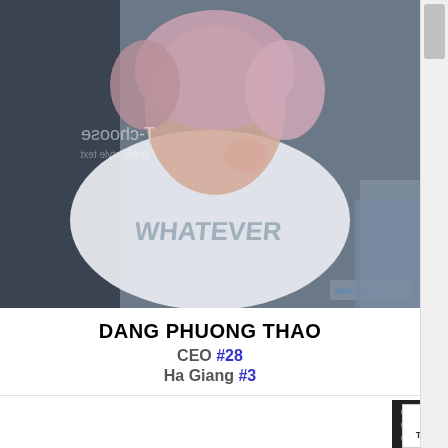[Figure (photo): Young woman with pink/rose tinted hair wearing a white mesh t-shirt with 'WHATEVER' printed on it, sitting on a couch. Background shows mirrored text 'T-choose'. Photo has a watermark in the bottom right corner.]
DANG PHUONG THAO
CEO #28
Ha Giang #3
[Figure (photo): Young woman with orange/red dyed hair wearing a floral hair accessory/headband, photographed indoors.]